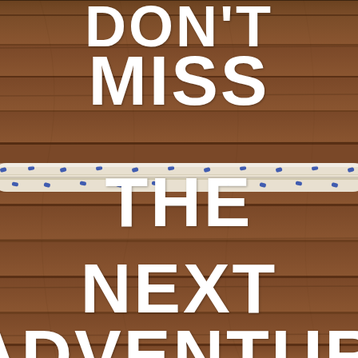[Figure (photo): Wooden plank background (dark brown wood) with a white and blue dotted rope running horizontally across the middle of the image. Bold white text overlaid reads: DON'T MISS THE NEXT ADVENTURE (partially cropped).]